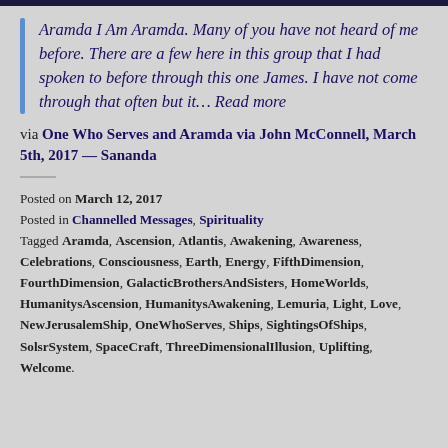Aramda I Am Aramda. Many of you have not heard of me before. There are a few here in this group that I had spoken to before through this one James. I have not come through that often but it... Read more
via One Who Serves and Aramda via John McConnell, March 5th, 2017 — Sananda
Posted on March 12, 2017
Posted in Channelled Messages, Spirituality
Tagged Aramda, Ascension, Atlantis, Awakening, Awareness, Celebrations, Consciousness, Earth, Energy, FifthDimension, FourthDimension, GalacticBrothersAndSisters, HomeWorlds, HumanitysAscension, HumanitysAwakening, Lemuria, Light, Love, NewJerusalemShip, OneWhoServes, Ships, SightingsOfShips, SolsrSystem, SpaceCraft, ThreeDimensionalIllusion, Uplifting, Welcome.